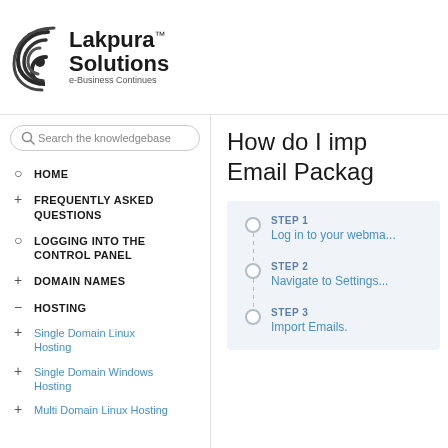[Figure (logo): Lakpura Solutions logo with spiral/wave graphic and tagline 'e-Business Continues']
[Figure (screenshot): Search the knowledgebase input field with magnifying glass icon]
HOME
FREQUENTLY ASKED QUESTIONS
LOGGING INTO THE CONTROL PANEL
DOMAIN NAMES
HOSTING
Single Domain Linux Hosting
Single Domain Windows Hosting
Multi Domain Linux Hosting
How do I imp... Email Packag...
STEP 1
Log in to your webma...
STEP 2
Navigate to Settings...
STEP 3
Import Emails.